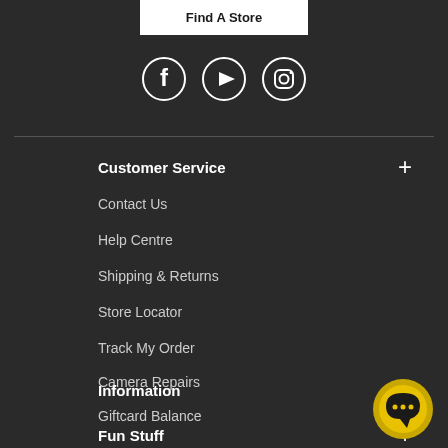Find A Store
[Figure (illustration): Social media icons: Facebook, YouTube, Instagram in white circle outlines on dark background]
Customer Service
Contact Us
Help Centre
Shipping & Returns
Store Locator
Track My Order
Camera Repairs
Giftcard Balance
Information
Fun Stuff
[Figure (illustration): Yellow circle chat bubble icon with three dots, used as a live chat button]